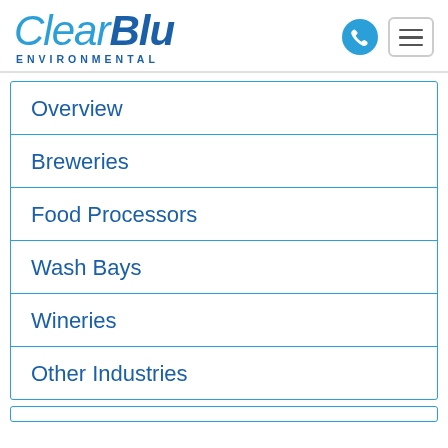[Figure (logo): ClearBlu Environmental logo with phone icon and hamburger menu]
Overview
Breweries
Food Processors
Wash Bays
Wineries
Other Industries